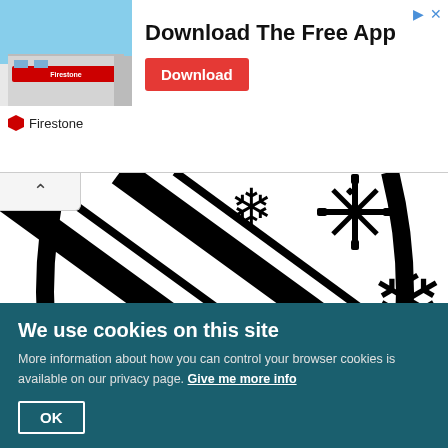[Figure (infographic): Firestone app advertisement banner with building photo, 'Download The Free App' headline, red Download button, and Firestone logo/name at bottom left]
[Figure (illustration): Black and white decorative ornament or ball illustration with diagonal stripes and snowflake patterns, cropped closeup view]
We use cookies on this site
More information about how you can control your browser cookies is available on our privacy page. Give me more info
OK